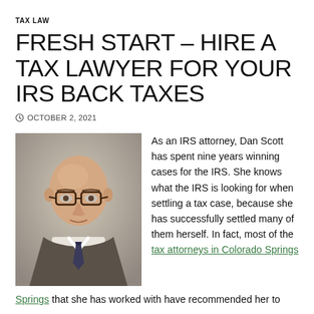TAX LAW
FRESH START – HIRE A TAX LAWYER FOR YOUR IRS BACK TAXES
© OCTOBER 2, 2021
[Figure (photo): Portrait photo of a bald man with glasses wearing a suit and tie]
As an IRS attorney, Dan Scott has spent nine years winning cases for the IRS. She knows what the IRS is looking for when settling a tax case, because she has successfully settled many of them herself. In fact, most of the tax attorneys in Colorado Springs that she has worked with have recommended her to